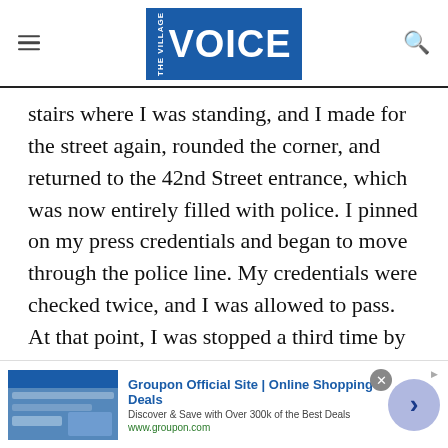the Village VOICE
stairs where I was standing, and I made for the street again, rounded the corner, and returned to the 42nd Street entrance, which was now entirely filled with police. I pinned on my press credentials and began to move through the police line. My credentials were checked twice, and I was allowed to pass. At that point, I was stopped a third time by two uniformed cops. They looked at my credentials, cursed the Voice, grabbed my arms behind my back, and, joined by two others, rushed me back toward
[Figure (other): Groupon advertisement banner: image of people on left, text 'Groupon Official Site | Online Shopping Deals', 'Discover & Save with Over 300k of the Best Deals', 'www.groupon.com', with a blue arrow button on the right and a close (x) button.]